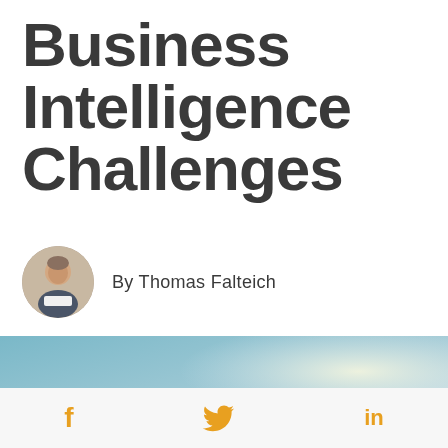Business Intelligence Challenges
By Thomas Falteich
[Figure (photo): A person wearing a red cape and red headband, viewed from the side, appearing to be a superhero figure against a bright sky background.]
[Figure (infographic): Social media sharing bar with Facebook (f), Twitter (bird icon), and LinkedIn (in) icons in orange/amber color on a light grey background.]